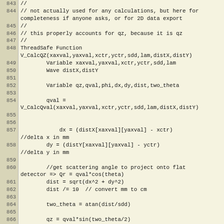[Figure (screenshot): Code listing showing lines 844-870 of a scientific computing script (IGOR Pro or similar), implementing a ThreadSafe function V_CalcQZ that calculates qz values from detector coordinates. Lines include comments, variable declarations, and mathematical expressions for computing scattering angle and qz.]